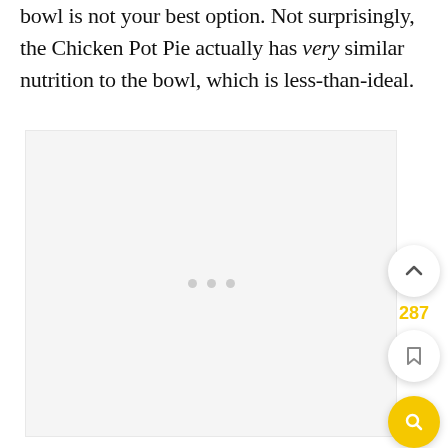bowl is not your best option. Not surprisingly, the Chicken Pot Pie actually has very similar nutrition to the bowl, which is less-than-ideal.
[Figure (other): Large white/light gray content area with three small gray dots in the center, likely a loading placeholder or embedded image area. UI navigation buttons visible on right: up arrow button, page number 287, bookmark button, and gold search button.]